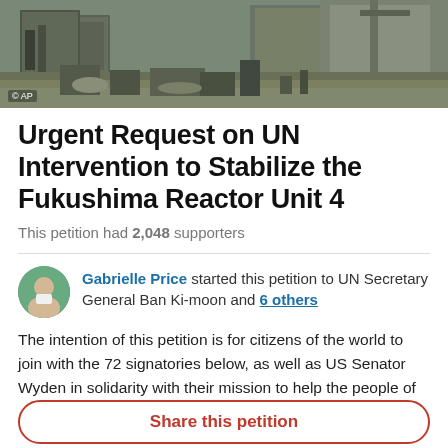[Figure (photo): Aerial or ground-level photograph of the Fukushima nuclear reactor site showing damaged structures, debris, and industrial equipment. AP copyright watermark in bottom-left corner.]
Urgent Request on UN Intervention to Stabilize the Fukushima Reactor Unit 4
This petition had 2,048 supporters
Gabrielle Price started this petition to UN Secretary General Ban Ki-moon and 6 others
The intention of this petition is for citizens of the world to join with the 72 signatories below, as well as US Senator Wyden in solidarity with their mission to help the people of Japan and the rest of our planet by
Share this petition